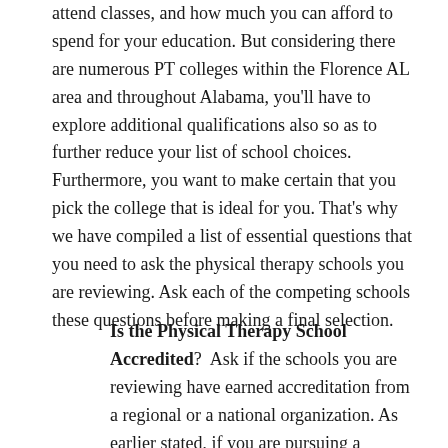attend classes, and how much you can afford to spend for your education. But considering there are numerous PT colleges within the Florence AL area and throughout Alabama, you'll have to explore additional qualifications also so as to further reduce your list of school choices. Furthermore, you want to make certain that you pick the college that is ideal for you. That's why we have compiled a list of essential questions that you need to ask the physical therapy schools you are reviewing. Ask each of the competing schools these questions before making a final selection.
Is the Physical Therapy School Accredited? Ask if the schools you are reviewing have earned accreditation from a regional or a national organization. As earlier stated, if you are pursuing a doctoral degree the program must be accredited by the Commission on Accreditation in Physical Therapy Education (CAPTE). If you choose an online college, it may also earn